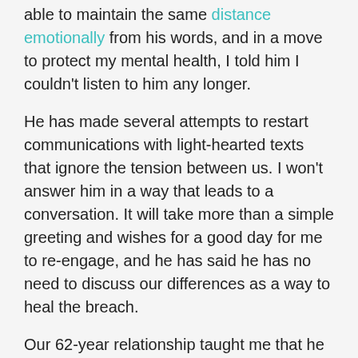able to maintain the same distance emotionally from his words, and in a move to protect my mental health, I told him I couldn't listen to him any longer.
He has made several attempts to restart communications with light-hearted texts that ignore the tension between us. I won't answer him in a way that leads to a conversation. It will take more than a simple greeting and wishes for a good day for me to re-engage, and he has said he has no need to discuss our differences as a way to heal the breach.
Our 62-year relationship taught me that he will always do exactly what he wishes, and he wishes to speak his point of view without pausing for breath. I will now choose to actively not listen, instead of passively letting his words flow in one ear and out the other as I used to do. This is huge for me and hard, as it causes discomfort to our mother and possibly to some of our kids. Putting myself first is a show of stronger self-esteem. I hope as time